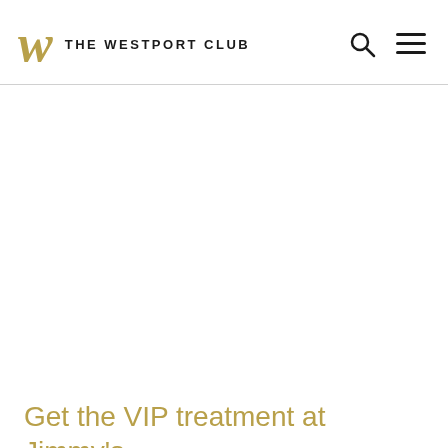THE WESTPORT CLUB
Get the VIP treatment at Jimmy's Bar & Lounge